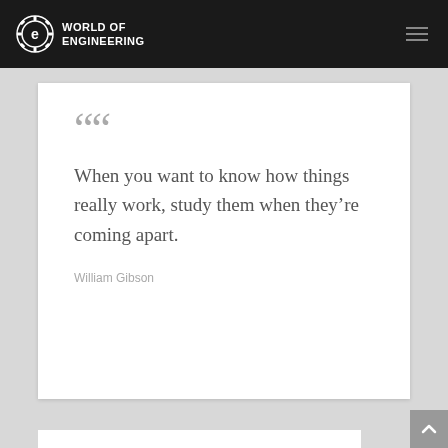WORLD OF ENGINEERING
When you want to know how things really work, study them when they're coming apart.
William Gibson